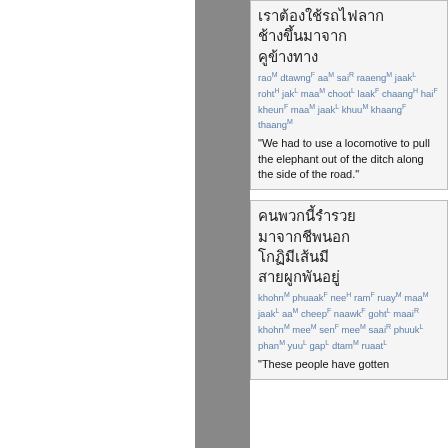Thai script block 1 with romanization: raoM dtawngF aaM saiR raaengM jaakL rohtH jakL maaM chootL laakF chaangH haiF kheunF maaM jaakL khuuM khaangF thaangM
"We had to use a locomotive to pull the elephant out of the ditch along the side of the road."
Thai script block 2 with romanization: khohnM phuaakF neeH ramF ruayM maaM jaakL aaM cheepF naawkF gohtL maaiR khohnM meeM senF meeM saaiR phuukL phanM yuuL gapL dtamM ruaatL
"These people have gotten...